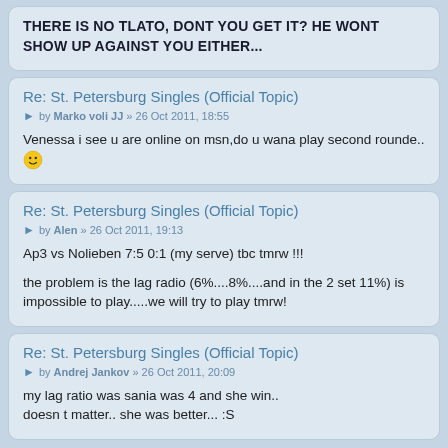THERE IS NO TLATO, DONT YOU GET IT? HE WONT SHOW UP AGAINST YOU EITHER...
Re: St. Petersburg Singles (Official Topic)
by Marko voli JJ » 26 Oct 2011, 18:55
Venessa i see u are online on msn,do u wana play second rounde..😀
Re: St. Petersburg Singles (Official Topic)
by Alen » 26 Oct 2011, 19:13
Ap3 vs Nolieben 7:5 0:1 (my serve) tbc tmrw !!!

the problem is the lag radio (6%....8%....and in the 2 set 11%) is impossible to play.....we will try to play tmrw!
Re: St. Petersburg Singles (Official Topic)
by Andrej Jankov » 26 Oct 2011, 20:09
my lag ratio was sania was 4 and she win..
doesn t matter.. she was better... :S